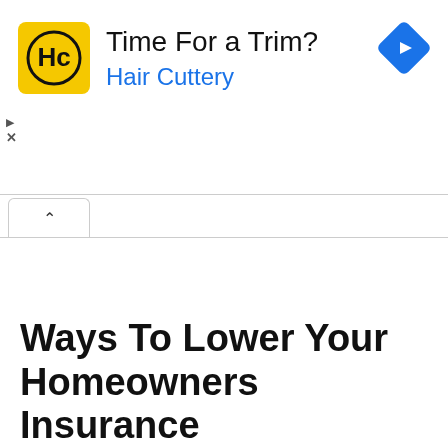[Figure (logo): Hair Cuttery advertisement banner with yellow HC logo, text 'Time For a Trim?' and 'Hair Cuttery' in blue, and a blue navigation diamond icon on the right. Small play and close (X) controls on the left side.]
Ways To Lower Your Homeowners Insurance